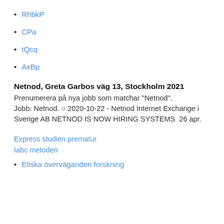RhbkP
CPa
tQcq
AxBp
Netnod, Greta Garbos väg 13, Stockholm 2021
Prenumerera på nya jobb som matchar "Netnod". Jobb: Netnod. ○ 2020-10-22 - Netnod Internet Exchange i Sverige AB NETNOD IS NOW HIRING SYSTEMS  26 apr.
Express studien prematur
Iabc metoden
Etiska överväganden forskning